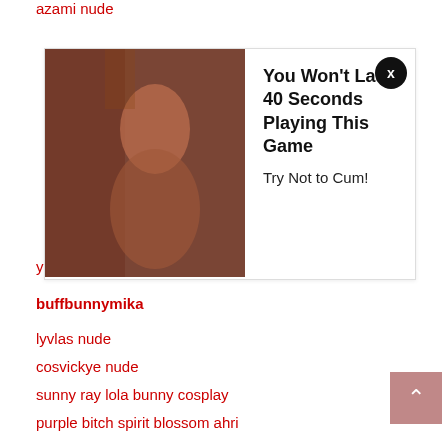azami nude
[Figure (photo): Advertisement banner with a woman's photo and text 'You Won't Last 40 Seconds Playing This Game - Try Not to Cum!']
yeonaxs nudes
buffbunnymika
lyvlas nude
cosvickye nude
sunny ray lola bunny cosplay
purple bitch spirit blossom ahri
pink fox scooby doo
kuukow nude
violetztv
nickycoser nude